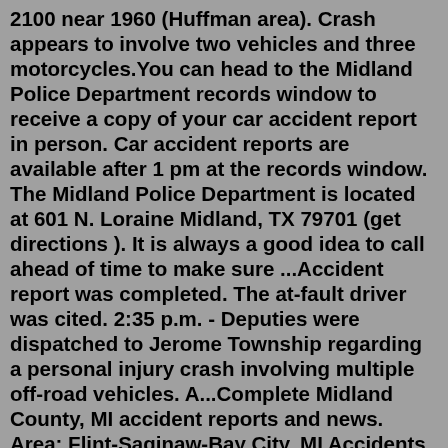2100 near 1960 (Huffman area). Crash appears to involve two vehicles and three motorcycles.You can head to the Midland Police Department records window to receive a copy of your car accident report in person. Car accident reports are available after 1 pm at the records window. The Midland Police Department is located at 601 N. Loraine Midland, TX 79701 (get directions ). It is always a good idea to call ahead of time to make sure ...Accident report was completed. The at-fault driver was cited. 2:35 p.m. - Deputies were dispatched to Jerome Township regarding a personal injury crash involving multiple off-road vehicles. A...Complete Midland County, MI accident reports and news. Area: Flint-Saginaw-Bay City, MI Accidents in Midland County are a major cause of property damage, injury, and death each year In Midland County, statistics from the National Highway Traffic Safety Administration show that traffic crashes remain a primary public safety issue.6:06 pm. MIDLAND, TX — According to CBS7, a 67-year-old woman was fatally injured Wednesday...